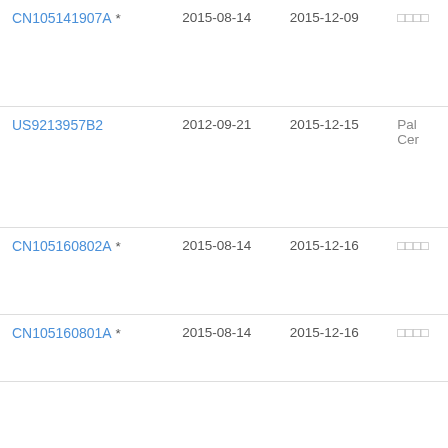| CN105141907A * | 2015-08-14 | 2015-12-09 | □□□□ |
| US9213957B2 | 2012-09-21 | 2015-12-15 | Pal Cer |
| CN105160802A * | 2015-08-14 | 2015-12-16 | □□□□ |
| CN105160801A * | 2015-08-14 | 2015-12-16 | □□□□ |